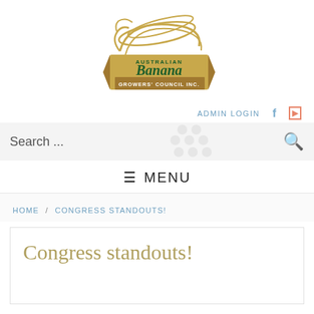[Figure (logo): Australian Banana Growers' Council Inc. logo with stylized banana graphic in gold/tan and green text on a banner]
ADMIN LOGIN
Search ...
≡ MENU
HOME / CONGRESS STANDOUTS!
Congress standouts!